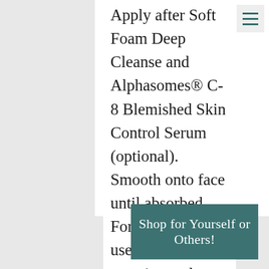Apply after Soft Foam Deep Cleanse and Alphasomes® C-8 Blemished Skin Control Serum (optional). Smooth onto face until absorbed. For mild acne, use in the morning and Controlling Cream at night. Once acne is under control, use morning and night. In the morning, follow with sunscreen.
Shop for Yourself or Others!